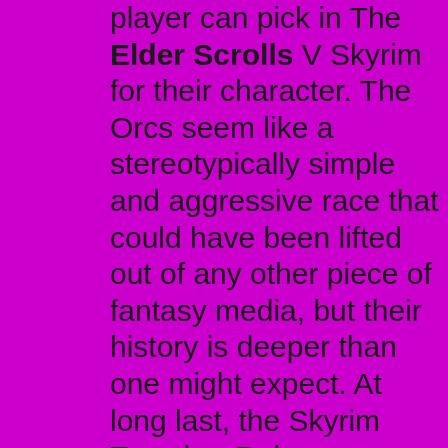player can pick in The Elder Scrolls V Skyrim for their character. The Orcs seem like a stereotypically simple and aggressive race that could have been lifted out of any other piece of fantasy media, but their history is deeper than one might expect. At long last, the Skyrim Together Reborn co-op mod is available for download via Nexus Mods.As you might have already guessed, it aims to achieve one very specific goal: introducing cooperative. 3 Catwoman April. It's not a surprise there are a bunch of April mods. Some recolor her to look like Black Widow or her 2003 version. Some give her back her R.Mika-esque Butt Attack from the. The RPG game can now be played in local co-op, use two popular multiplayer tools. Nucleus co-op, a mod that turns games into splitscreen multiplayer games, is now campatible with Skyrim Together. I created a 3D ANAGLYPH video based on the game "Skyrim" by using the latest 3D software technology Cyberlink PowerDirector.Time effort to create this video:. Amazing The Elder Scrolls Skyrim Icon S7. Res:512*512. Download:1315. Scrolls Online Icon Blagoicons 2 0 The Elder Scrolls V Skyrim Icon. Res:350*350. Download:1220. The Elder Scrolls V Skyrim Icon Darhymes 10 3 Skyrim. Res:256*256. Download:1087. Skyrim Desktop Icon. Res:512*512. Download:10678. Flame Skyrim Icons. Res:256*256. Download:7172. Skyrim. 2. Extract Skyrim - Textures.bsa (or just the images you'll be editing- that's faster but if you